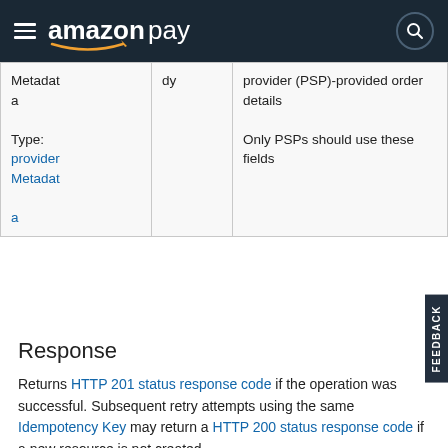Amazon Pay
| Metadata

Type: providerMetadata | dy | provider (PSP)-provided order details

Only PSPs should use these fields |
Response
Returns HTTP 201 status response code if the operation was successful. Subsequent retry attempts using the same Idempotency Key may return a HTTP 200 status response code if a new resource is not created.